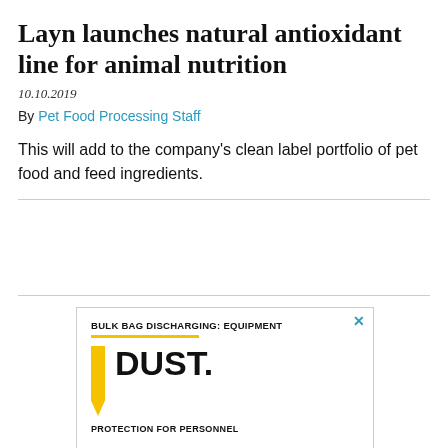Layn launches natural antioxidant line for animal nutrition
10.10.2019
By Pet Food Processing Staff
This will add to the company's clean label portfolio of pet food and feed ingredients.
[Figure (infographic): Advertisement box with 'BULK BAG DISCHARGING: EQUIPMENT' category header, yellow accent bar and line, large bold text 'DUST.' and 'PROTECTION FOR PERSONNEL' subheading. Close button (X) in top right corner.]